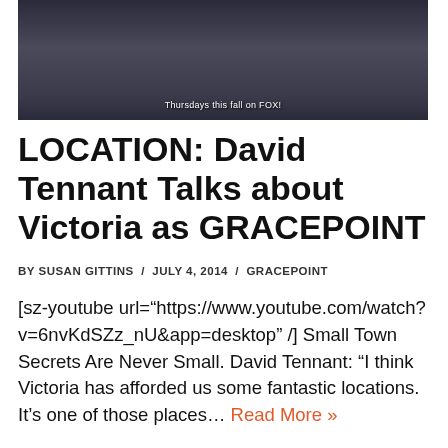[Figure (photo): A man in a dark suit and tie, photo still from TV show Gracepoint, with text overlay 'Thursdays this fall on FOX!']
LOCATION: David Tennant Talks about Victoria as GRACEPOINT
BY SUSAN GITTINS  /  JULY 4, 2014  /  GRACEPOINT
[sz-youtube url="https://www.youtube.com/watch?v=6nvKdSZz_nU&app=desktop" /] Small Town Secrets Are Never Small. David Tennant: "I think Victoria has afforded us some fantastic locations. It’s one of those places… Read More »